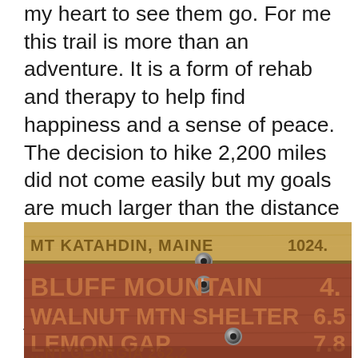my heart to see them go. For me this trail is more than an adventure. It is a form of rehab and therapy to help find happiness and a sense of peace. The decision to hike 2,200 miles did not come easily but my goals are much larger than the distance and elevations I am logging. I still see a safe path forward and I'm not ready to leave. The trail has just hinted at what it can do for me and I'm eager to stay with in it and see what I can learn.
[Figure (photo): Close-up photo of a trail sign showing wooden boards with destinations and distances. Top strip shows MT KATAHDIN, MAINE 1024. Below shows BLUFF MOUNTAIN 4., WALNUT MTN SHELTER 6.5, LEMON GAP 7.8, and partially visible bottom text. Bolts visible holding the signs.]